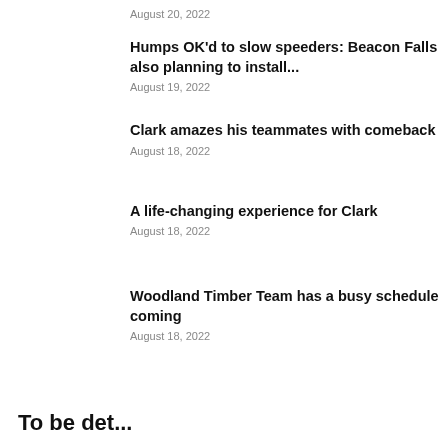August 20, 2022
Humps OK'd to slow speeders: Beacon Falls also planning to install...
August 19, 2022
Clark amazes his teammates with comeback
August 18, 2022
A life-changing experience for Clark
August 18, 2022
Woodland Timber Team has a busy schedule coming
August 18, 2022
To be det...